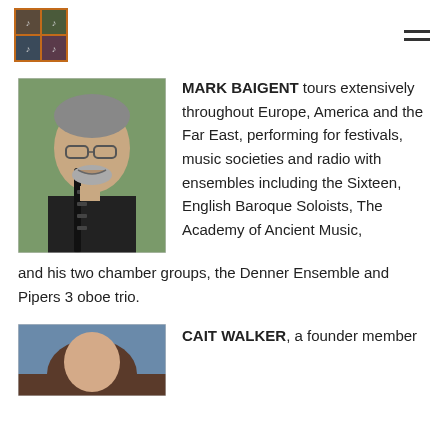[Figure (logo): Decorative logo with four portrait images arranged in a 2x2 grid on an orange/brown background]
MARK BAIGENT tours extensively throughout Europe, America and the Far East, performing for festivals, music societies and radio with ensembles including the Sixteen, English Baroque Soloists, The Academy of Ancient Music, and his two chamber groups, the Denner Ensemble and Pipers 3 oboe trio.
[Figure (photo): Photo of Mark Baigent holding a clarinet/oboe instrument, standing outdoors near a tree]
CAIT WALKER, a founder member